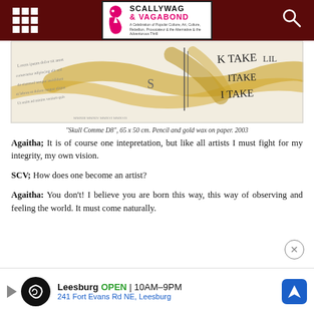Scallywag & Vagabond
[Figure (photo): Artwork photograph showing pencil and gold wax on paper — 'Skull Comme D8', 65 x 50 cm, 2003. White paper with handwritten text 'K TAKE', 'LIL', 'ITAKE', 'I TAKE' and golden wax brush strokes, with cursive handwriting on the left.]
“Skull Comme D8”, 65 x 50 cm. Pencil and gold wax on paper. 2003
Agaitha; It is of course one intepretation, but like all artists I must fight for my integrity, my own vision.
SCV; How does one become an artist?
Agaitha: You don’t! I believe you are born this way, this way of observing and feeling the world. It must come naturally.